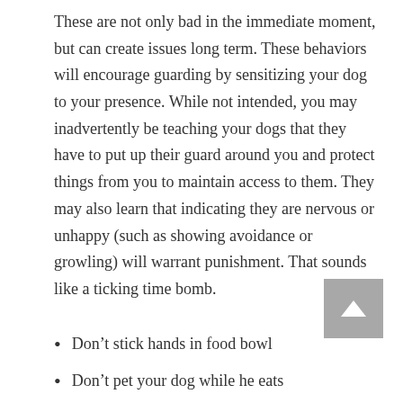These are not only bad in the immediate moment, but can create issues long term. These behaviors will encourage guarding by sensitizing your dog to your presence. While not intended, you may inadvertently be teaching your dogs that they have to put up their guard around you and protect things from you to maintain access to them. They may also learn that indicating they are nervous or unhappy (such as showing avoidance or growling) will warrant punishment. That sounds like a ticking time bomb.
Don’t stick hands in food bowl
Don’t pet your dog while he eats
Don’t take things from your dog’s mouth unless it is something...